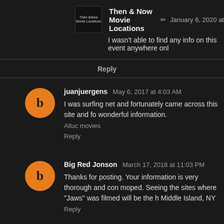Then & Now Movie Locations  ✏  January 6, 2020 at
I wasn't able to find any info on this event anywhere onl
Reply
juanjuergens  May 6, 2017 at 4:03 AM
I was surfing net and fortunately came across this site and fo wonderful information.
Alluc movies
Reply
Big Red Jonson  March 17, 2018 at 11:03 PM
Thanks for posting. Your information is very thorough and con moped. Seeing the sites where "Jaws" was filmed will be the h Middle Island, NY
Reply